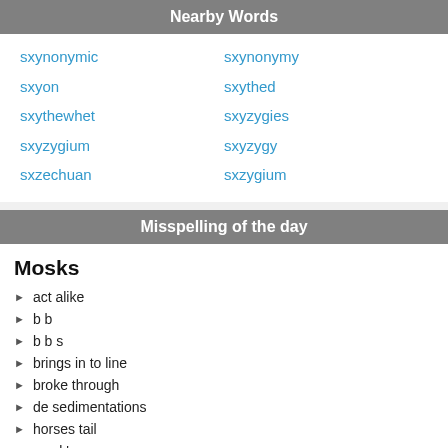Nearby Words
sxynonymic
sxynonymy
sxyon
sxythed
sxythewhet
sxyzygies
sxyzygium
sxyzygy
sxzechuan
sxzygium
Misspelling of the day
Mosks
act alike
b b
b b s
brings in to line
broke through
de sedimentations
horses tail
mask's